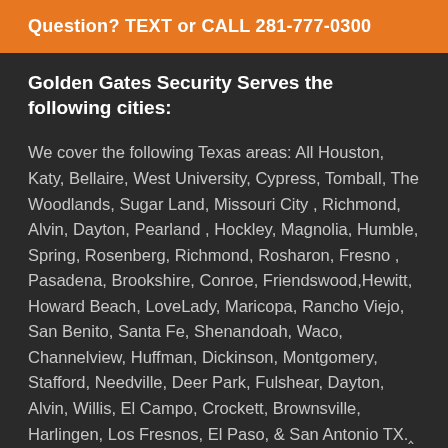Question? TEXT or CALL 281-777-0300
Golden Gates Security Serves the following cities:
We cover the following Texas areas: All Houston, Katy, Bellaire, West University, Cypress, Tomball, The Woodlands, Sugar Land, Missouri City , Richmond, Alvin, Dayton, Pearland , Hockley, Magnolia, Humble, Spring, Rosenberg, Richmond, Rosharon, Fresno , Pasadena, Brookshire, Conroe, Friendswood,Hewitt, Howard Beach, LoveLady, Maricopa, Rancho Viejo, San Benito, Santa Fe, Shenandoah, Waco, Channelview, Huffman, Dickinson, Montgomery, Stafford, Needville, Deer Park, Fulshear, Dayton, Alvin, Willis, El Campo, Crockett, Brownsville, Harlingen, Los Fresnos, El Paso, & San Antonio TX.